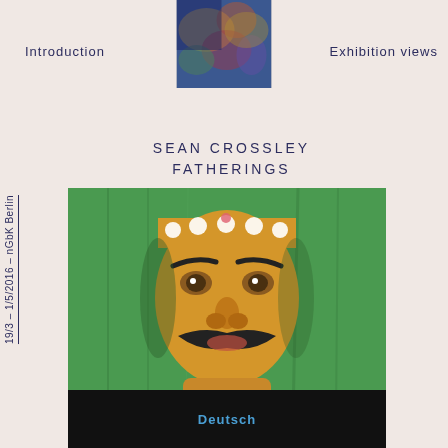[Figure (illustration): Abstract colorful painting thumbnail at top center, partially obscured by navigation text]
Introduction   Painting   Exhibition views
SEAN CROSSLEY
FATHERINGS
[Figure (photo): Sculpture or mask of a man with a mustache wearing a dotted headband, set against a green fabric background. Work by Sergio Cusmir titled Dracula / Eternal Daddy.]
SERGIO CUSMIR
DRACULA / ETERNAL DADDY
[Figure (screenshot): Dark image at bottom with blue text reading 'Deutsch']
19/3 – 1/5/2016 – nGbK Berlin